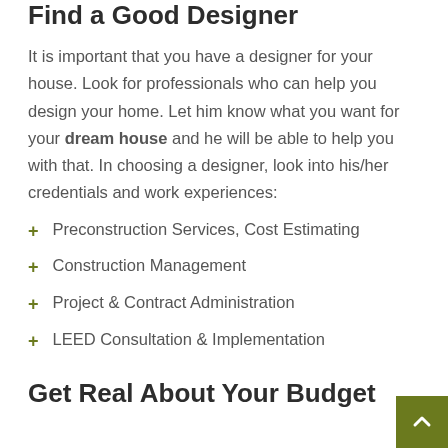Find a Good Designer
It is important that you have a designer for your house. Look for professionals who can help you design your home. Let him know what you want for your dream house and he will be able to help you with that. In choosing a designer, look into his/her credentials and work experiences:
Preconstruction Services, Cost Estimating
Construction Management
Project & Contract Administration
LEED Consultation & Implementation
Get Real About Your Budget